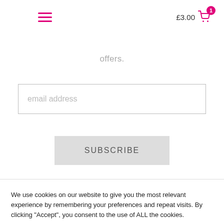£3.00 [cart icon with badge 1]
offers.
[Figure (screenshot): Email address input field with placeholder text 'email address']
[Figure (screenshot): SUBSCRIBE button in light grey]
We use cookies on our website to give you the most relevant experience by remembering your preferences and repeat visits. By clicking "Accept", you consent to the use of ALL the cookies.
Do not sell my personal information.
[Figure (screenshot): Cookie Settings and Accept buttons in pink/magenta]